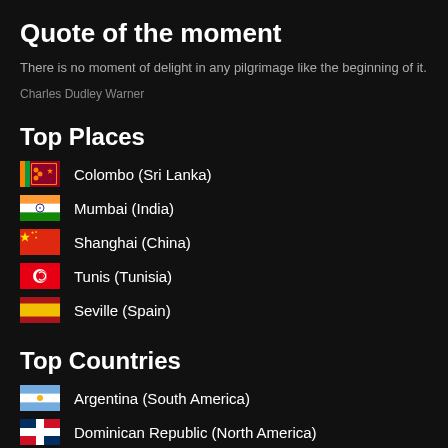Quote of the moment
There is no moment of delight in any pilgrimage like the beginning of it.
Charles Dudley Warner
Top Places
Colombo (Sri Lanka)
Mumbai (India)
Shanghai (China)
Tunis (Tunisia)
Seville (Spain)
Top Countries
Argentina (South America)
Dominican Republic (North America)
Ecuador (South America)